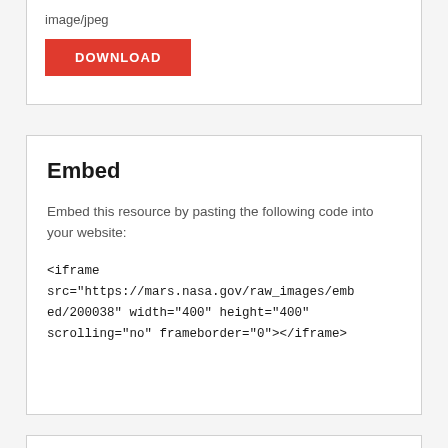image/jpeg
DOWNLOAD
Embed
Embed this resource by pasting the following code into your website:
<iframe src="https://mars.nasa.gov/raw_images/embed/200038" width="400" height="400" scrolling="no" frameborder="0"></iframe>
More Like This